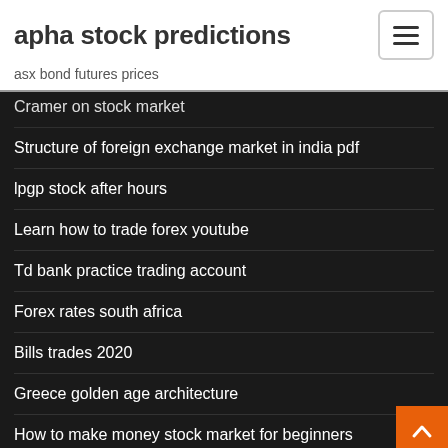apha stock predictions
asx bond futures prices
Cramer on stock market
Structure of foreign exchange market in india pdf
lpgp stock after hours
Learn how to trade forex youtube
Td bank practice trading account
Forex rates south africa
Bills trades 2020
Greece golden age architecture
How to make money stock market for beginners
Crude oil today price per barrel